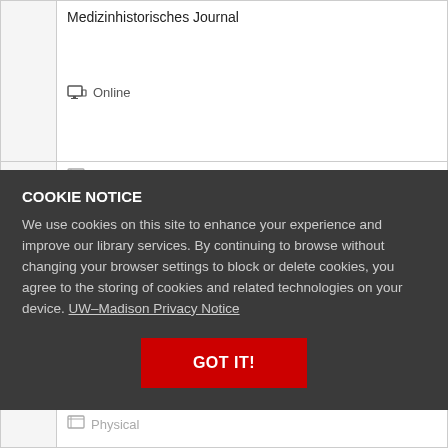Medizinhistorisches Journal
Online
Physical
COOKIE NOTICE
We use cookies on this site to enhance your experience and improve our library services. By continuing to browse without changing your browser settings to block or delete cookies, you agree to the storing of cookies and related technologies on your device. UW–Madison Privacy Notice
GOT IT!
Physical